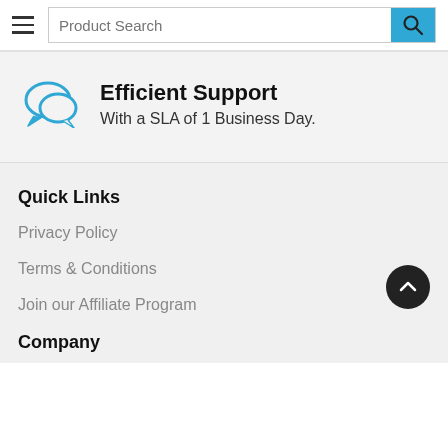Product Search
[Figure (illustration): Chat/support bubble icon in blue]
Efficient Support
With a SLA of 1 Business Day.
Quick Links
Privacy Policy
Terms & Conditions
Join our Affiliate Program
Company